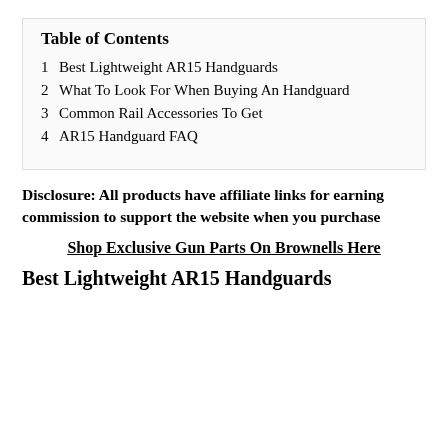Table of Contents
1 Best Lightweight AR15 Handguards
2 What To Look For When Buying An Handguard
3 Common Rail Accessories To Get
4 AR15 Handguard FAQ
Disclosure: All products have affiliate links for earning commission to support the website when you purchase
Shop Exclusive Gun Parts On Brownells Here
Best Lightweight AR15 Handguards